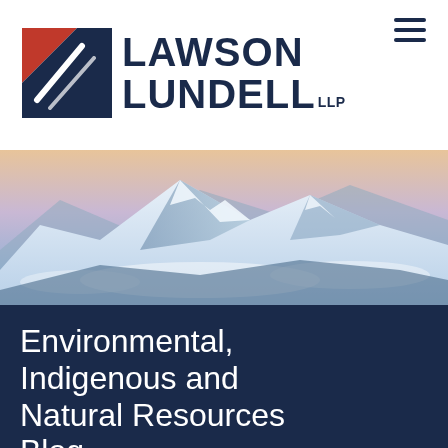[Figure (logo): Lawson Lundell LLP law firm logo with red and navy geometric triangle icon and firm name in bold navy text]
[Figure (photo): Panoramic photograph of snow-capped mountain peaks with clouds, lit by warm sunset/sunrise light]
Environmental, Indigenous and Natural Resources Blog